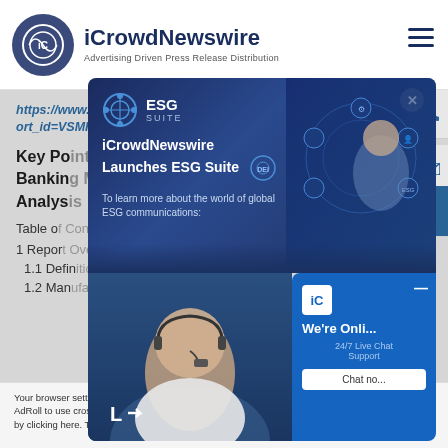iCrowdNewswire — Advertising Driven Press Release Distribution
https://www.reportocean.com/industry-verticals/sample-request?report_id=VSMR792
Key Points Covered in Private Banking Market Analysis
Table of
1 Report
1.1 Defin
1.2 Man
[Figure (screenshot): ESG Suite modal popup overlay on iCrowdNewswire website showing ESG Suite branding, 'iCrowdNewswire Launches ESG Suite' heading, description about global ESG communications, and a live chat widget with '24/7 Live Chat Support' and 'Chat no...' button.]
Your browser settings do not allow cross-site tracking. AdRoll to use cross-site tracking to tailor by clicking here. This message only ap